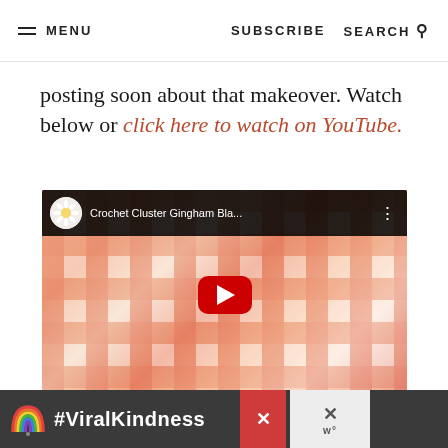MENU | SUBSCRIBE | SEARCH
posting soon about that makeover. Watch below or click here to watch on YouTube.
[Figure (screenshot): YouTube video embed showing a crochet cluster gingham blanket. The video thumbnail shows a peach and white gingham-patterned crocheted blanket. A red YouTube play button is centered on the thumbnail. The top bar shows a daisy avatar icon and the title 'Crochet Cluster Gingham Bla...' with a three-dot menu icon.]
[Figure (screenshot): Advertisement banner at the bottom showing a rainbow illustration and the text '#ViralKindness' on a dark background, with two close/dismiss buttons on the right.]